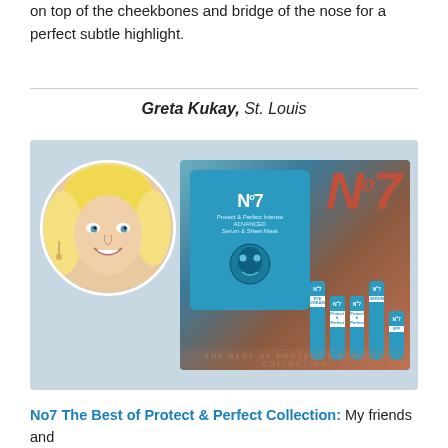on top of the cheekbones and bridge of the nose for a perfect subtle highlight.
Greta Kukay, St. Louis
[Figure (photo): Circular portrait of a blonde woman smiling, next to a product shot of the No7 The Best of Protect & Perfect Collection showing blue skincare tubes and face mask packaging against a rose-gold metallic background]
No7 The Best of Protect & Perfect Collection: My friends and